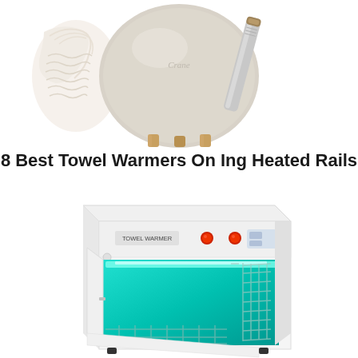[Figure (photo): Top portion of a round egg-shaped towel warmer in light gray/beige color, sitting on a wooden stand, with white towels visible on the left side and what appears to be a metal rail or handle on the right side.]
8 Best Towel Warmers On Ing Heated Rails
[Figure (photo): A white cabinet-style towel warmer with the door open, revealing a teal/cyan UV-lit interior with metal wire racks. The front panel reads 'TOWEL WARMER' with two red indicator lights and control buttons.]